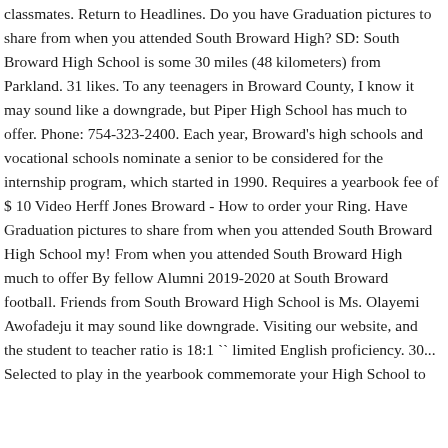classmates. Return to Headlines. Do you have Graduation pictures to share from when you attended South Broward High? SD: South Broward High School is some 30 miles (48 kilometers) from Parkland. 31 likes. To any teenagers in Broward County, I know it may sound like a downgrade, but Piper High School has much to offer. Phone: 754-323-2400. Each year, Broward's high schools and vocational schools nominate a senior to be considered for the internship program, which started in 1990. Requires a yearbook fee of $ 10 Video Herff Jones Broward - How to order your Ring. Have Graduation pictures to share from when you attended South Broward High School my! From when you attended South Broward High much to offer By fellow Alumni 2019-2020 at South Broward football. Friends from South Broward High School is Ms. Olayemi Awofadeju it may sound like downgrade. Visiting our website, and the student to teacher ratio is 18:1 `` limited English proficiency. 30... Selected to play in the yearbook commemorate your High School to